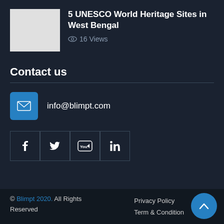[Figure (photo): Thumbnail image (white/blank rectangle) for article about UNESCO World Heritage Sites in West Bengal]
5 UNESCO World Heritage Sites in West Bengal
16 Views
Contact us
info@blimpt.com
[Figure (infographic): Social media icons row: Facebook (f), Twitter (bird), YouTube (play), LinkedIn (in) — each in a square outlined box]
© Blimpt 2020. All Rights Reserved   Privacy Policy   Term & Condition